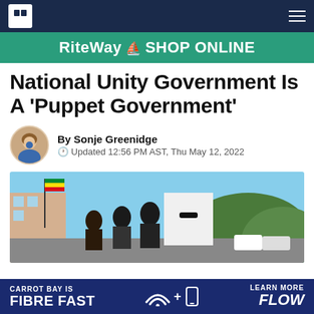RN logo and navigation bar
[Figure (other): RiteWay Shop Online banner advertisement with teal/green background]
National Unity Government Is A 'Puppet Government'
By Sonje Greenidge
Updated 12:56 PM AST, Thu May 12, 2022
[Figure (photo): People at a protest holding flags and a sign with a portrait of a person wearing glasses outdoors in a Caribbean setting]
[Figure (other): FLOW advertisement: Carrot Bay Is Fibre Fast — Learn More FLOW]